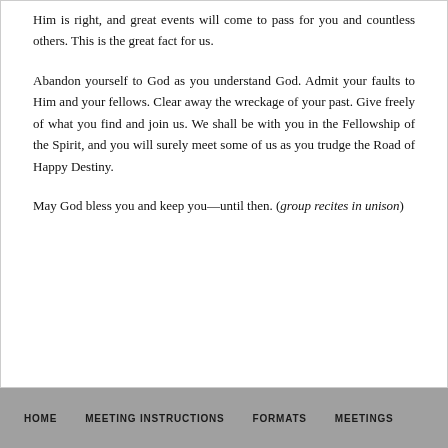Him is right, and great events will come to pass for you and countless others. This is the great fact for us.
Abandon yourself to God as you understand God. Admit your faults to Him and your fellows. Clear away the wreckage of your past. Give freely of what you find and join us. We shall be with you in the Fellowship of the Spirit, and you will surely meet some of us as you trudge the Road of Happy Destiny.
May God bless you and keep you—until then. (group recites in unison)
HOME   MEETING INSTRUCTIONS   FORMATS   MEETINGS